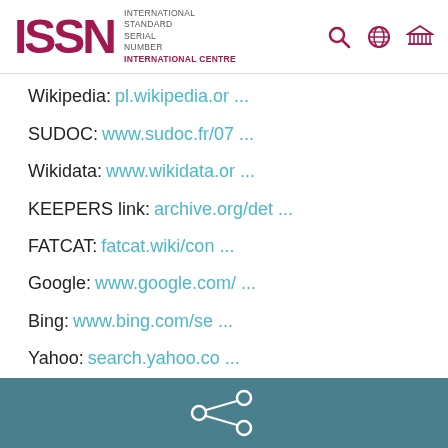ISSN International Standard Serial Number International Centre — navigation header with search, globe, and building icons
Wikipedia: pl.wikipedia.or ...
SUDOC: www.sudoc.fr/07 ...
Wikidata: www.wikidata.or ...
KEEPERS link: archive.org/det ...
FATCAT: fatcat.wiki/con ...
Google: www.google.com/ ...
Bing: www.bing.com/se ...
Yahoo: search.yahoo.co ...
Koninklijke Bibliotheek: opc4.kb.nl/DB=1 ...
CROSSREF: search.crossref ...
Pubmed: pubmed.ncbi.nlm
[Figure (infographic): Teal/dark cyan footer bar with a share icon (three circles connected by lines) centered in it]